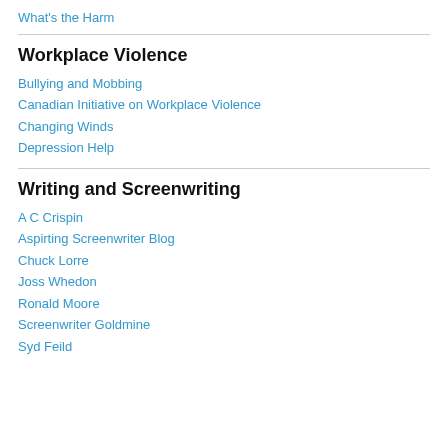What's the Harm
Workplace Violence
Bullying and Mobbing
Canadian Initiative on Workplace Violence
Changing Winds
Depression Help
Writing and Screenwriting
A C Crispin
Aspirting Screenwriter Blog
Chuck Lorre
Joss Whedon
Ronald Moore
Screenwriter Goldmine
Syd Feild